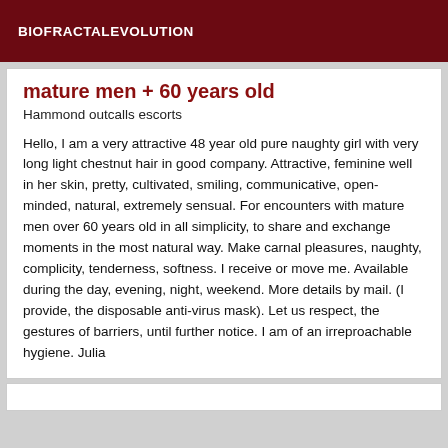BIOFRACTALEVOLUTION
mature men + 60 years old
Hammond outcalls escorts
Hello, I am a very attractive 48 year old pure naughty girl with very long light chestnut hair in good company. Attractive, feminine well in her skin, pretty, cultivated, smiling, communicative, open-minded, natural, extremely sensual. For encounters with mature men over 60 years old in all simplicity, to share and exchange moments in the most natural way. Make carnal pleasures, naughty, complicity, tenderness, softness. I receive or move me. Available during the day, evening, night, weekend. More details by mail. (I provide, the disposable anti-virus mask). Let us respect, the gestures of barriers, until further notice. I am of an irreproachable hygiene. Julia